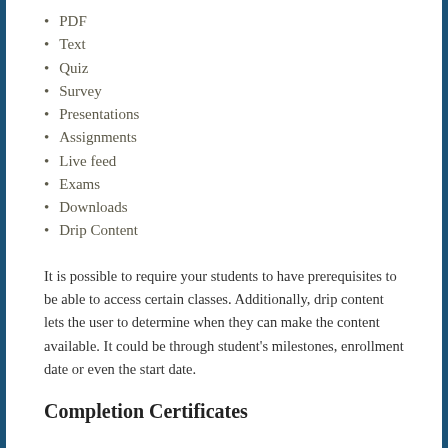PDF
Text
Quiz
Survey
Presentations
Assignments
Live feed
Exams
Downloads
Drip Content
It is possible to require your students to have prerequisites to be able to access certain classes. Additionally, drip content lets the user to determine when they can make the content available. It could be through student's milestones, enrollment date or even the start date.
Completion Certificates